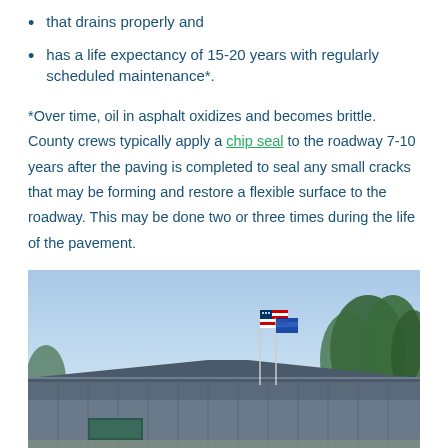that drains properly and
has a life expectancy of 15-20 years with regularly scheduled maintenance*.
*Over time, oil in asphalt oxidizes and becomes brittle. County crews typically apply a chip seal to the roadway 7-10 years after the paving is completed to seal any small cracks that may be forming and restore a flexible surface to the roadway. This may be done two or three times during the life of the pavement.
[Figure (photo): Government building with metal siding and roof, American flag and another flag on flagpoles, evergreen trees visible in background, blue sky]